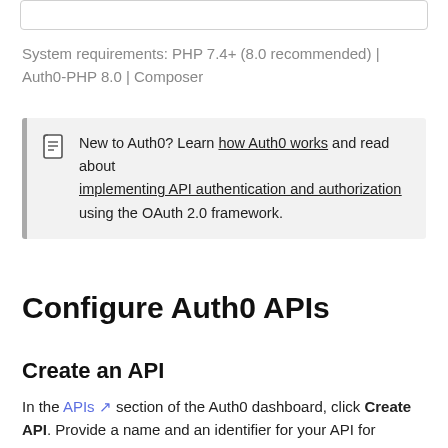System requirements: PHP 7.4+ (8.0 recommended) | Auth0-PHP 8.0 | Composer
New to Auth0? Learn how Auth0 works and read about implementing API authentication and authorization using the OAuth 2.0 framework.
Configure Auth0 APIs
Create an API
In the APIs section of the Auth0 dashboard, click Create API. Provide a name and an identifier for your API for your own use and click